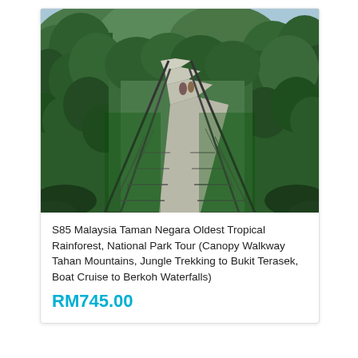[Figure (photo): A canopy walkway (suspension bridge) extending through dense tropical rainforest in Taman Negara, Malaysia. The bridge has metal cable railings and a narrow concrete/wooden path. Thick jungle vegetation and mountains are visible in the background under a partly cloudy sky.]
S85 Malaysia Taman Negara Oldest Tropical Rainforest, National Park Tour (Canopy Walkway Tahan Mountains, Jungle Trekking to Bukit Terasek, Boat Cruise to Berkoh Waterfalls)
RM745.00